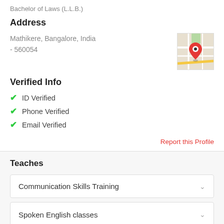Bachelor of Laws (L.L.B.)
Address
Mathikere, Bangalore, India - 560054
[Figure (map): Google Maps thumbnail showing a red location pin marker on a street map]
Verified Info
ID Verified
Phone Verified
Email Verified
Report this Profile
Teaches
Communication Skills Training
Spoken English classes